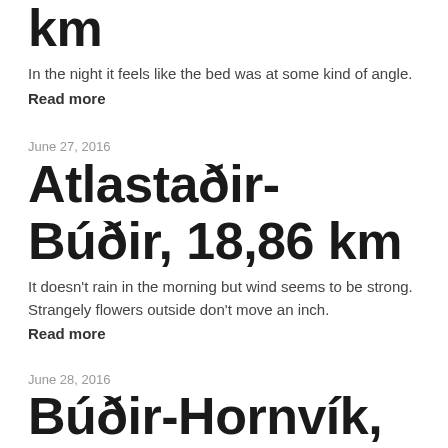km
In the night it feels like the bed was at some kind of angle.
Read more
June 27, 2016
Atlastaðir-Búðir, 18,86 km
It doesn't rain in the morning but wind seems to be strong. Strangely flowers outside don't move an inch.
Read more
June 28, 2016
Búðir-Hornvík, 11,9 km